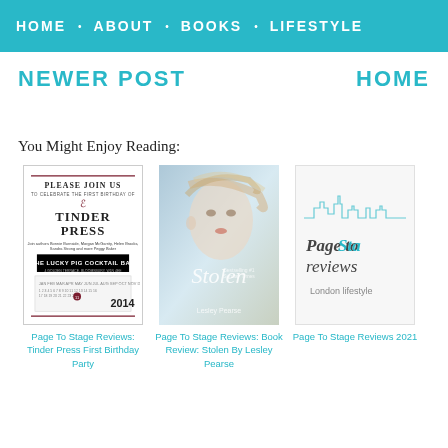HOME · ABOUT · BOOKS · LIFESTYLE
NEWER POST
HOME
You Might Enjoy Reading:
[Figure (illustration): Tinder Press First Birthday Party invitation card with calendar for 2014]
Page To Stage Reviews: Tinder Press First Birthday Party
[Figure (photo): Book cover: Stolen By Lesley Pearse, showing a woman's face with blonde windswept hair]
Page To Stage Reviews: Book Review: Stolen By Lesley Pearse
[Figure (logo): Page To Stage Reviews logo with London skyline illustration and text 'London lifestyle']
Page To Stage Reviews 2021